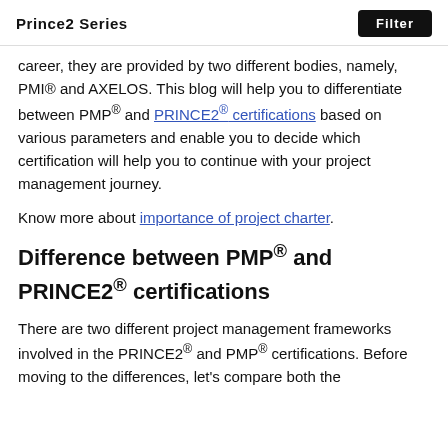Prince2 Series  Filter
career, they are provided by two different bodies, namely, PMI® and AXELOS. This blog will help you to differentiate between PMP® and PRINCE2® certifications based on various parameters and enable you to decide which certification will help you to continue with your project management journey.
Know more about importance of project charter.
Difference between PMP® and PRINCE2® certifications
There are two different project management frameworks involved in the PRINCE2® and PMP® certifications. Before moving to the differences, let's compare both the